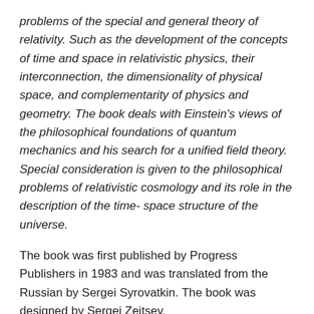problems of the special and general theory of relativity. Such as the development of the concepts of time and space in relativistic physics, their interconnection, the dimensionality of physical space, and complementarity of physics and geometry. The book deals with Einstein's views of the philosophical foundations of quantum mechanics and his search for a unified field theory. Special consideration is given to the philosophical problems of relativistic cosmology and its role in the description of the time- space structure of the universe.
The book was first published by Progress Publishers in 1983 and was translated from the Russian by Sergei Syrovatkin. The book was designed by Sergei Zeitsev.
PDF | Bookmarked | Cover | 520 pp. | OCR | 17.5 MB